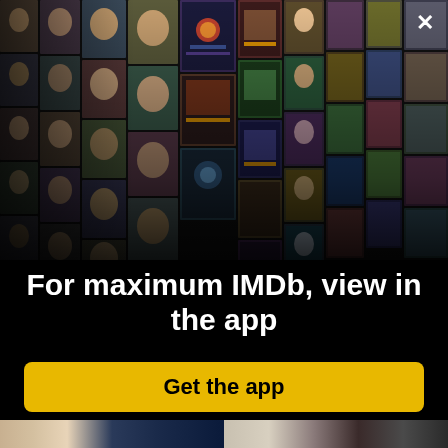[Figure (photo): Collage of celebrity headshots and movie/TV show posters arranged in a perspective grid on black background, showing actors and entertainment content]
×
For maximum IMDb, view in the app
[Figure (other): Yellow rounded button with text 'Get the app']
[Figure (photo): Bottom strip showing partial photos of two couples at formal events, woman in beaded dress and man in tux on left, woman in sparkly outfit and man in leather jacket on right]